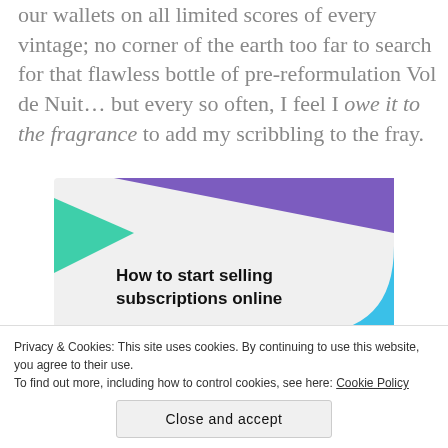our wallets on all limited scores of every vintage; no corner of the earth too far to search for that flawless bottle of pre-reformulation Vol de Nuit… but every so often, I feel I owe it to the fragrance to add my scribbling to the fray.
[Figure (illustration): Promotional banner with geometric colored shapes (purple triangle, green triangle, blue curve) on a light gray background with bold text reading 'How to start selling subscriptions online']
Privacy & Cookies: This site uses cookies. By continuing to use this website, you agree to their use.
To find out more, including how to control cookies, see here: Cookie Policy
Close and accept